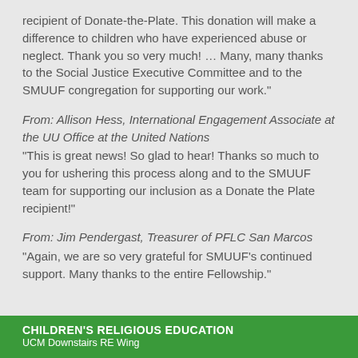recipient of Donate-the-Plate. This donation will make a difference to children who have experienced abuse or neglect. Thank you so very much! … Many, many thanks to the Social Justice Executive Committee and to the SMUUF congregation for supporting our work."
From: Allison Hess, International Engagement Associate at the UU Office at the United Nations
"This is great news! So glad to hear! Thanks so much to you for ushering this process along and to the SMUUF team for supporting our inclusion as a Donate the Plate recipient!"
From: Jim Pendergast, Treasurer of PFLC San Marcos
"Again, we are so very grateful for SMUUF's continued support. Many thanks to the entire Fellowship."
CHILDREN'S RELIGIOUS EDUCATION
UCM Downstairs RE Wing